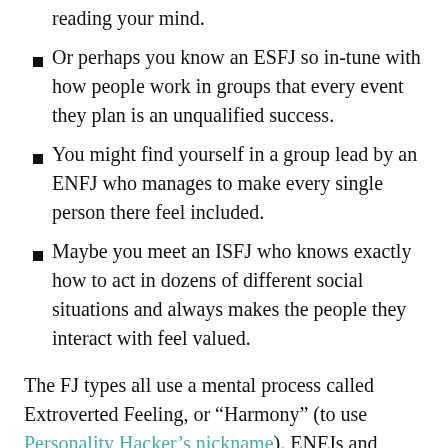much about you that it seems like they're reading your mind.
Or perhaps you know an ESFJ so in-tune with how people work in groups that every event they plan is an unqualified success.
You might find yourself in a group lead by an ENFJ who manages to make every single person there feel included.
Maybe you meet an ISFJ who knows exactly how to act in dozens of different social situations and always makes the people they interact with feel valued.
The FJ types all use a mental process called Extroverted Feeling, or “Harmony” (to use Personality Hacker’s nickname). ENFJs and ESFJs use it as their favorite (or primary) mental function. INFJs and ISFJs use it as their co-pilot (or auxiliary) function. Today, we’re going to take a closer look at how this